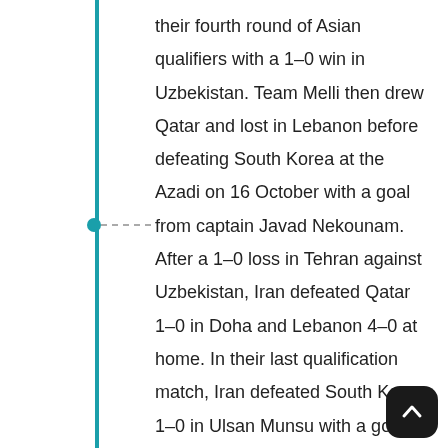their fourth round of Asian qualifiers with a 1–0 win in Uzbekistan. Team Melli then drew Qatar and lost in Lebanon before defeating South Korea at the Azadi on 16 October with a goal from captain Javad Nekounam. After a 1–0 loss in Tehran against Uzbekistan, Iran defeated Qatar 1–0 in Doha and Lebanon 4–0 at home. In their last qualification match, Iran defeated South Korea 1–0 in Ulsan Munsu with a goal from European-based Ghoochannejhad, resulting in their qualification to the 2014 World Cup as group winners with 16 points. Thus, Iran became the third team that Queiroz managed to qualify for the World Cup, having reached the 2002 edition with South Africa and